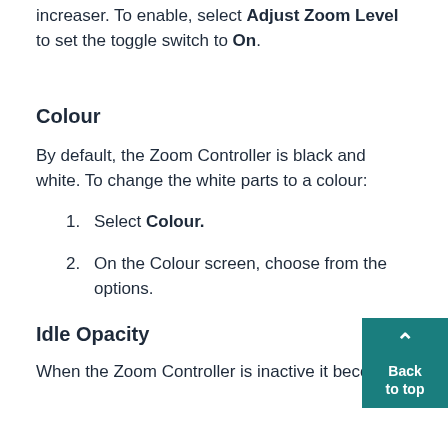increaser. To enable, select Adjust Zoom Level to set the toggle switch to On.
Colour
By default, the Zoom Controller is black and white. To change the white parts to a colour:
Select Colour.
On the Colour screen, choose from the options.
Idle Opacity
When the Zoom Controller is inactive it becomes